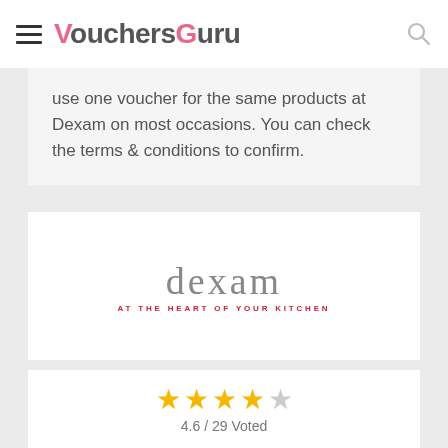VouchersGuru
use one voucher for the same products at Dexam on most occasions. You can check the terms & conditions to confirm.
[Figure (logo): Dexam logo with tagline 'AT THE HEART OF YOUR KITCHEN']
4.6 / 29 Voted